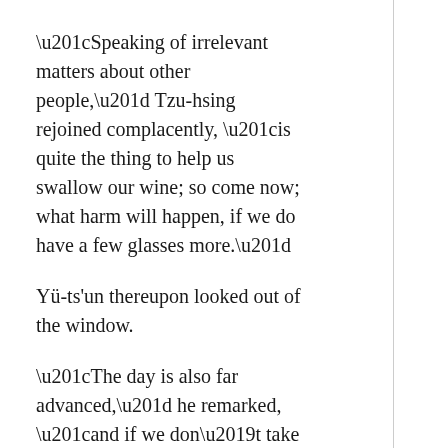“Speaking of irrelevant matters about other people,” Tzu-hsing rejoined complacently, “is quite the thing to help us swallow our wine; so come now; what harm will happen, if we do have a few glasses more.”
Yü-ts’un thereupon looked out of the window.
“The day is also far advanced,” he remarked, “and if we don’t take care, the gates will be closing; let us leisurely enter the city, and as we go along, there will be nothing to prevent us from continuing our chat.”
Forthwith the two friends rose